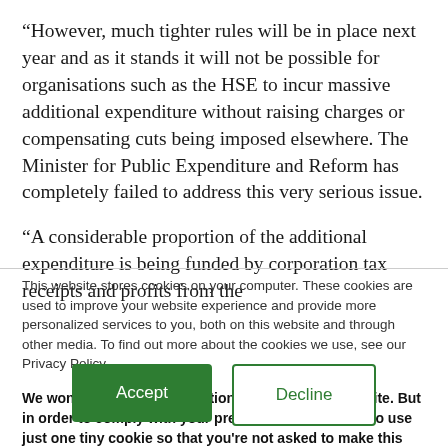“However, much tighter rules will be in place next year and as it stands it will not be possible for organisations such as the HSE to incur massive additional expenditure without raising charges or compensating cuts being imposed elsewhere. The Minister for Public Expenditure and Reform has completely failed to address this very serious issue.
“A considerable proportion of the additional expenditure is being funded by corporation tax receipts and profits from the
This website stores cookies on your computer. These cookies are used to improve your website experience and provide more personalized services to you, both on this website and through other media. To find out more about the cookies we use, see our Privacy Policy.
We won't track your information when you visit our site. But in order to comply with your preferences, we'll have to use just one tiny cookie so that you're not asked to make this choice again.